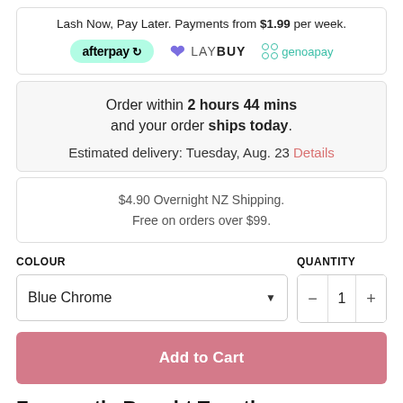Lash Now, Pay Later. Payments from $1.99 per week.
[Figure (logo): Payment provider logos: afterpay, LAYBUY, genoapay]
Order within 2 hours 44 mins and your order ships today. Estimated delivery: Tuesday, Aug. 23 Details
$4.90 Overnight NZ Shipping. Free on orders over $99.
COLOUR
QUANTITY
Blue Chrome
1
Add to Cart
Frequently Bought Together